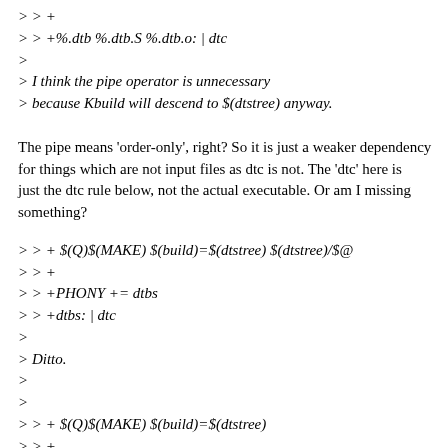> > +
> > +%.dtb %.dtb.S %.dtb.o: | dtc
>
> I think the pipe operator is unnecessary
> because Kbuild will descend to $(dtstree) anyway.
The pipe means 'order-only', right? So it is just a weaker dependency
for things which are not input files as dtc is not. The 'dtc' here is
just the dtc rule below, not the actual executable. Or am I missing
something?
> > + $(Q)$(MAKE) $(build)=$(dtstree) $(dtstree)/$@
> > +
> > +PHONY += dtbs
> > +dtbs: | dtc
>
> Ditto.
>
>
> > + $(Q)$(MAKE) $(build)=$(dtstree)
> > +
> > +dtbs_install: dtbs
> > + $(Q)$(MAKE) $(dtbinst)=$(dtstree)
> > +